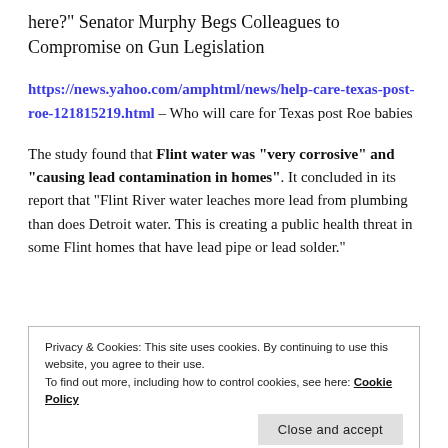here?" Senator Murphy Begs Colleagues to Compromise on Gun Legislation
https://news.yahoo.com/amphtml/news/help-care-texas-post-roe-121815219.html – Who will care for Texas post Roe babies
The study found that Flint water was "very corrosive" and "causing lead contamination in homes". It concluded in its report that "Flint River water leaches more lead from plumbing than does Detroit water. This is creating a public health threat in some Flint homes that have lead pipe or lead solder."
Privacy & Cookies: This site uses cookies. By continuing to use this website, you agree to their use.
To find out more, including how to control cookies, see here: Cookie Policy
[Close and accept]